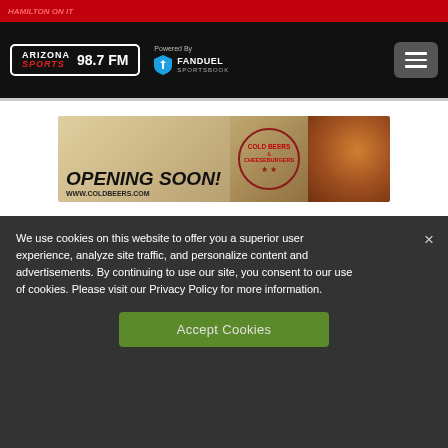HAMILTON ON IT
[Figure (logo): Arizona Sports 98.7 FM logo with FanDuel Sportsbook powered by text and hamburger menu button on black navigation bar]
[Figure (illustration): Advertisement banner: OPENING SOON! WWW.COLDBEERS.COM Cold Beers & Cheeseburgers with stamp logo and burger photo]
We use cookies on this website to offer you a superior user experience, analyze site traffic, and personalize content and advertisements. By continuing to use our site, you consent to our use of cookies. Please visit our Privacy Policy for more information.
Accept Cookies